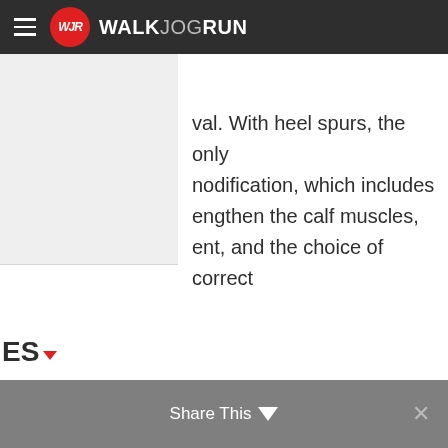WALKJOGRUN
val. With heel spurs, the only nodification, which includes engthen the calf muscles, ent, and the choice of correct
ES
Criteria Used for Favorites | Sources
Share This